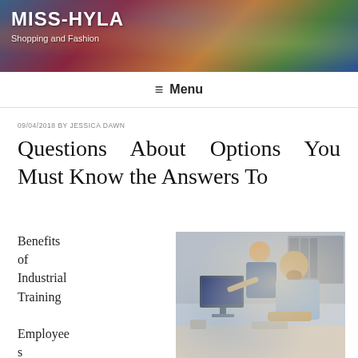MISS-HYLA
Shopping and Fashion
≡ Menu
09/04/2018 BY JESSICA DAWN
Questions About Options You Must Know the Answers To
Benefits of Industrial Training
[Figure (photo): Two office workers, a man and a woman, looking at a computer monitor. The man is seated and the woman is standing behind him pointing at the screen. Office environment with shelves in background.]
Employees